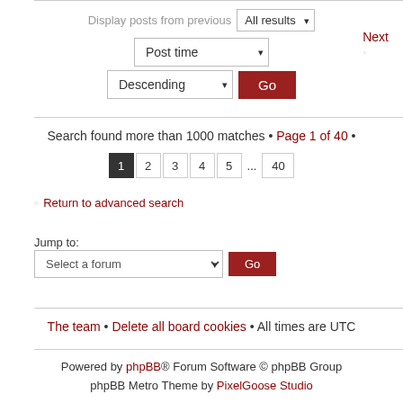Display posts from previous  All results ▾   Next ◦
Post time ▾
Descending ▾  Go
Search found more than 1000 matches • Page 1 of 40 •
1  2  3  4  5  ...  40
◦ Return to advanced search
Jump to:
Select a forum ▾  Go
The team • Delete all board cookies • All times are UTC
Powered by phpBB® Forum Software © phpBB Group phpBB Metro Theme by PixelGoose Studio